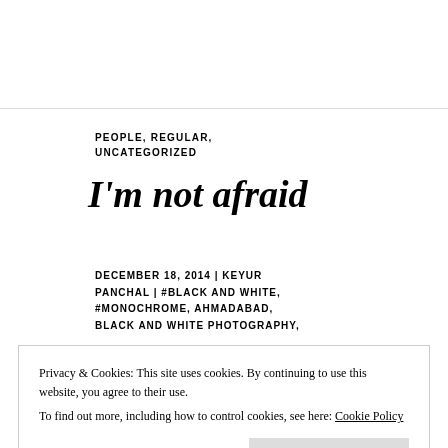PEOPLE, REGULAR, UNCATEGORIZED
I'm not afraid
DECEMBER 18, 2014 | KEYUR PANCHAL | #BLACK AND WHITE, #MONOCHROME, AHMADABAD, BLACK AND WHITE PHOTOGRAPHY,
Privacy & Cookies: This site uses cookies. By continuing to use this website, you agree to their use. To find out more, including how to control cookies, see here: Cookie Policy
Close and accept